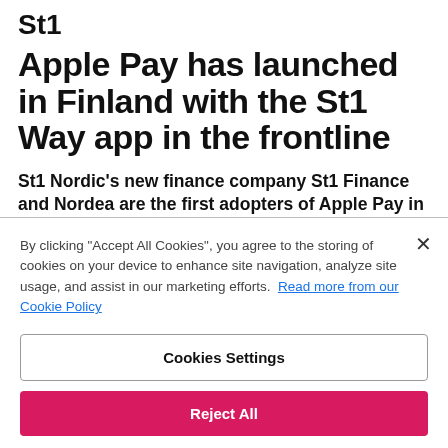[Figure (logo): St1 logo in dark/black text]
Apple Pay has launched in Finland with the St1 Way app in the frontline
St1 Nordic's new finance company St1 Finance and Nordea are the first adopters of Apple Pay in Finland. Customers can use
By clicking "Accept All Cookies", you agree to the storing of cookies on your device to enhance site navigation, analyze site usage, and assist in our marketing efforts. Read more from our Cookie Policy
Cookies Settings
Reject All